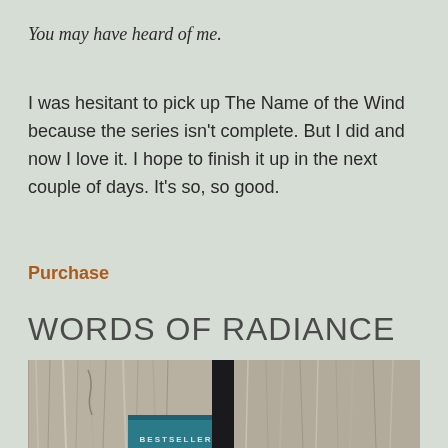You may have heard of me.
I was hesitant to pick up The Name of the Wind because the series isn't complete. But I did and now I love it. I hope to finish it up in the next couple of days. It's so, so good.
Purchase
WORDS OF RADIANCE
[Figure (photo): A book photographed on a weathered wooden surface. The book has a teal/blue and dark cover, partially visible. A 'BESTSELLER' label is partially visible at the bottom.]